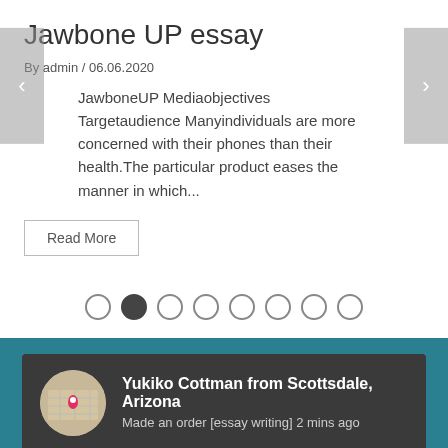Jawbone UP essay
By admin / 06.06.2020
JawboneUP Mediaobjectives Targetaudience Manyindividuals are more concerned with their phones than their health.The particular product eases the manner in which...
Read More
[Figure (other): Pagination dots: 8 circles, second one filled/active]
[Figure (infographic): Notification box on teal background: map thumbnail with red pin, text 'Yukiko Cottman from Scottsdale, Arizona' and 'Made an order [essay writing] 2 mins ago']